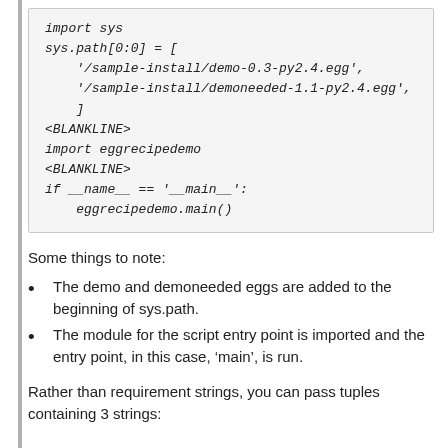[Figure (screenshot): Code block showing Python script: import sys, sys.path[0:0] = [...], <BLANKLINE>, import eggrecipedemo, <BLANKLINE>, if __name__ == '__main__': eggrecipedemo.main()]
Some things to note:
The demo and demoneeded eggs are added to the beginning of sys.path.
The module for the script entry point is imported and the entry point, in this case, 'main', is run.
Rather than requirement strings, you can pass tuples containing 3 strings: